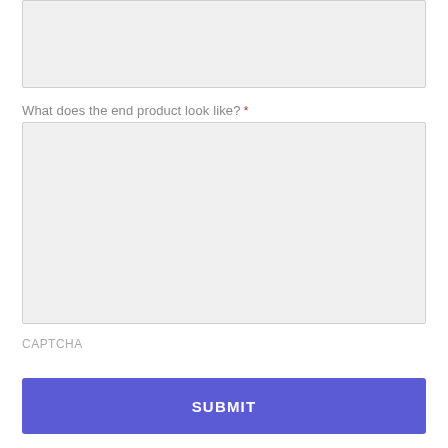[Figure (other): Empty text area input field (top, partially visible)]
What does the end product look like? *
[Figure (other): Empty text area input field for end product description]
CAPTCHA
SUBMIT